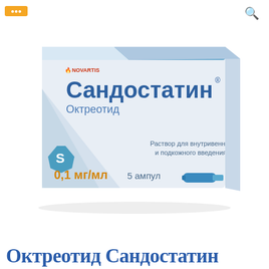[Figure (photo): Sandostatin (Octreotide) 0.1 mg/ml 5 ampoules medicine box by Novartis. White pharmaceutical box with blue accents, Novartis logo, Cyrillic text 'Сандостатин Октреотид', dosage 0.1 мг/мл 5 ампул, solution for intravenous and subcutaneous injection.]
Octreotid Sandostatin